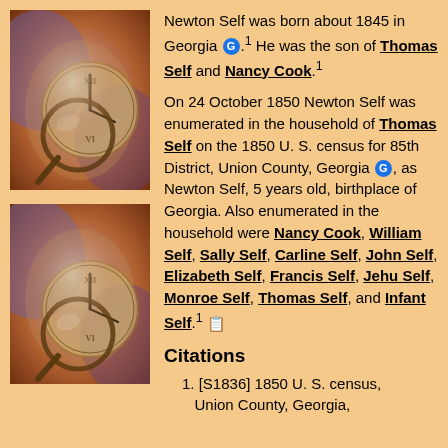[Figure (photo): Two photographs of a magnifying glass over antique clock faces with purple and brown tones, stacked vertically]
Newton Self was born about 1845 in Georgia [G].1 He was the son of Thomas Self and Nancy Cook.1
On 24 October 1850 Newton Self was enumerated in the household of Thomas Self on the 1850 U. S. census for 85th District, Union County, Georgia [G], as Newton Self, 5 years old, birthplace of Georgia. Also enumerated in the household were Nancy Cook, William Self, Sally Self, Carline Self, John Self, Elizabeth Self, Francis Self, Jehu Self, Monroe Self, Thomas Self, and Infant Self.1 [doc icon]
Citations
1. [S1836] 1850 U. S. census, Union County, Georgia,